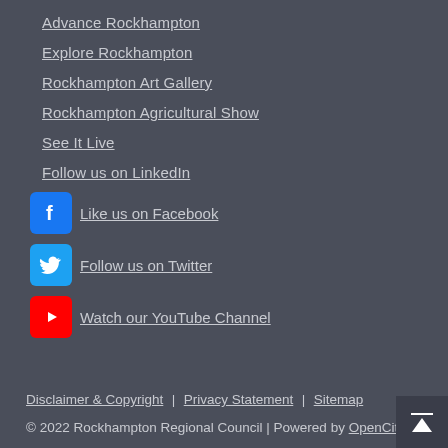Advance Rockhampton
Explore Rockhampton
Rockhampton Art Gallery
Rockhampton Agricultural Show
See It Live
Follow us on LinkedIn
Like us on Facebook
Follow us on Twitter
Watch our YouTube Channel
Disclaimer & Copyright | Privacy Statement | Sitemap
© 2022 Rockhampton Regional Council | Powered by OpenCities